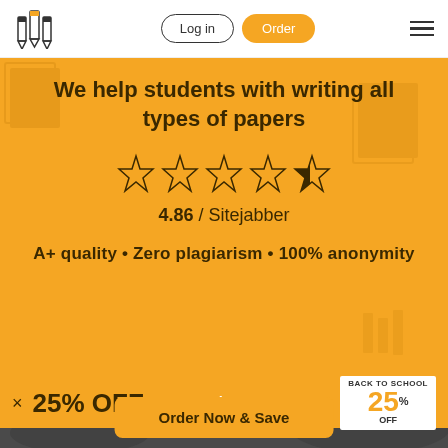[Figure (logo): Three pencil/pen icons forming a logo]
Log in
Order
We help students with writing all types of papers
[Figure (other): 4.86 out of 5 stars rating display with Sitejabber]
4.86 / Sitejabber
A+ quality • Zero plagiarism • 100% anonymity
25% OFF any order!
[Figure (other): BACK TO SCHOOL 25% OFF badge]
Order Now & Save